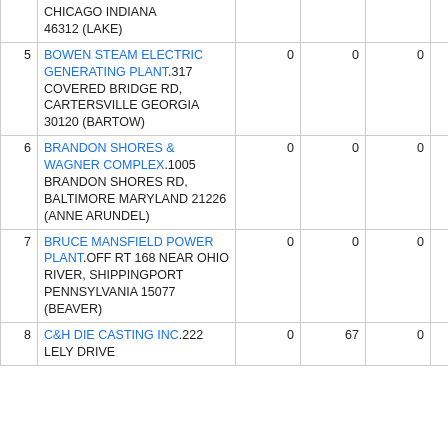| # | Facility | Col1 | Col2 | Col3 | Col4 |
| --- | --- | --- | --- | --- | --- |
|  | CHICAGO INDIANA 46312 (LAKE) |  |  |  |  |
| 5 | BOWEN STEAM ELECTRIC GENERATING PLANT.317 COVERED BRIDGE RD, CARTERSVILLE GEORGIA 30120 (BARTOW) | 0 | 0 | 0 | 0 |
| 6 | BRANDON SHORES & WAGNER COMPLEX.1005 BRANDON SHORES RD, BALTIMORE MARYLAND 21226 (ANNE ARUNDEL) | 0 | 0 | 0 | 0 |
| 7 | BRUCE MANSFIELD POWER PLANT.OFF RT 168 NEAR OHIO RIVER, SHIPPINGPORT PENNSYLVANIA 15077 (BEAVER) | 0 | 0 | 0 | 0 |
| 8 | C&H DIE CASTING INC.222 LELY DRIVE | 0 | 67 | 0 | 0 |